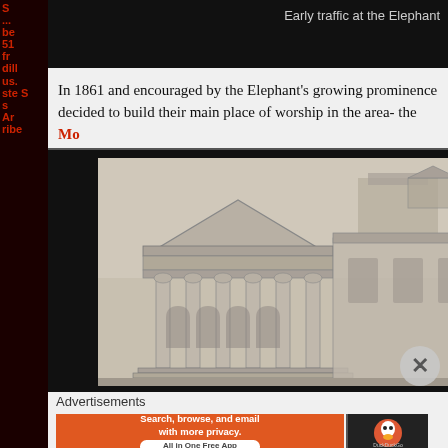[Figure (photo): Top dark image strip showing early traffic at the Elephant]
Early traffic at the Elephant
In 1861 and encouraged by the Elephant's growing prominence decided to build their main place of worship in the area- the Mo
[Figure (illustration): Historical architectural illustration of a neoclassical building with columns and pediment, drawn in pencil/charcoal style]
Advertisements
[Figure (screenshot): DuckDuckGo advertisement banner: Search, browse, and email with more privacy. All in One Free App]